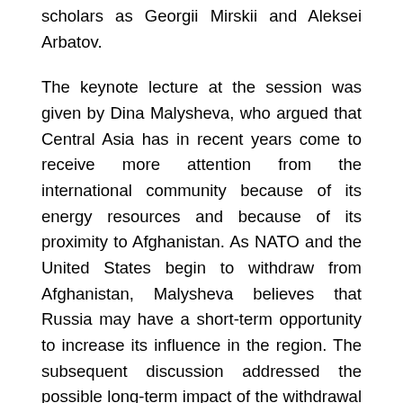scholars as Georgii Mirskii and Aleksei Arbatov.
The keynote lecture at the session was given by Dina Malysheva, who argued that Central Asia has in recent years come to receive more attention from the international community because of its energy resources and because of its proximity to Afghanistan. As NATO and the United States begin to withdraw from Afghanistan, Malysheva believes that Russia may have a short-term opportunity to increase its influence in the region. The subsequent discussion addressed the possible long-term impact of the withdrawal of allied forces from Afghanistan on the Central Asian region. The speakers found that increased drug trafficking, political instability, and the threat of Islamism pose significant challenges that the Central Asian states and Russia are as yet unprepared to meet.